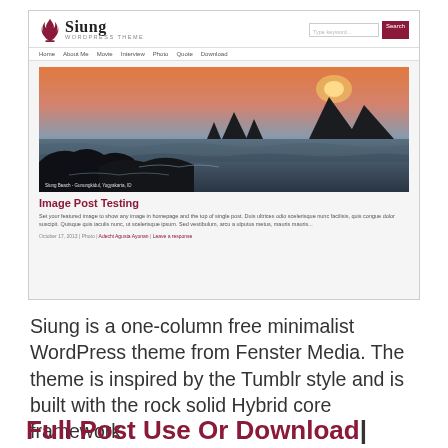[Figure (screenshot): Screenshot of the Siung WordPress theme website showing the header with logo, navigation menu, a featured beach/coastal sunset photo, and a blog post titled 'Image Post Testing' with excerpt text and metadata.]
Siung is a one-column free minimalist WordPress theme from Fenster Media. The theme is inspired by the Tumblr style and is built with the rock solid Hybrid core framework.
Full Post Use Or Download